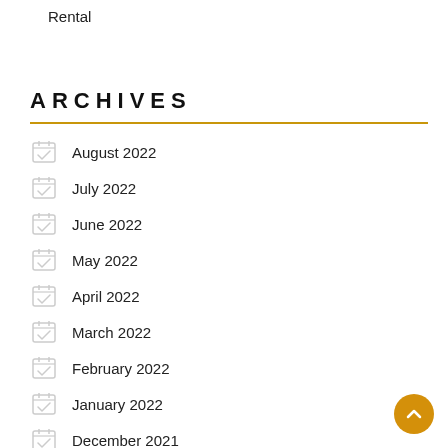Rental
ARCHIVES
August 2022
July 2022
June 2022
May 2022
April 2022
March 2022
February 2022
January 2022
December 2021
November 2021